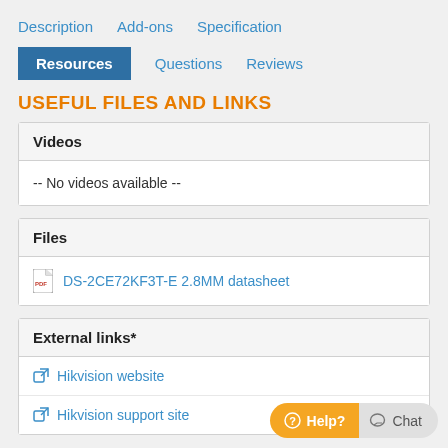Description  Add-ons  Specification  Resources  Questions  Reviews
USEFUL FILES AND LINKS
| Videos |
| --- |
| -- No videos available -- |
| Files |
| --- |
| DS-2CE72KF3T-E 2.8MM datasheet |
| External links* |
| --- |
| Hikvision website |
| Hikvision support site |